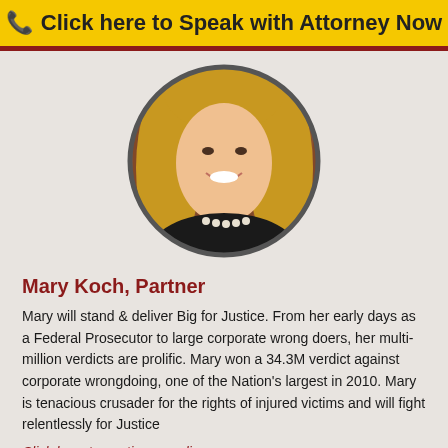Click here to Speak with Attorney Now
[Figure (photo): Circular headshot photograph of Mary Koch, a woman with long blonde hair wearing a dark jacket and pearl necklace, smiling against a wood-panel background]
Mary Koch, Partner
Mary will stand & deliver Big for Justice. From her early days as a Federal Prosecutor to large corporate wrong doers, her multi-million verdicts are prolific. Mary won a 34.3M verdict against corporate wrongdoing, one of the Nation's largest in 2010. Mary is tenacious crusader for the rights of injured victims and will fight relentlessly for Justice
Click here to continue reading.